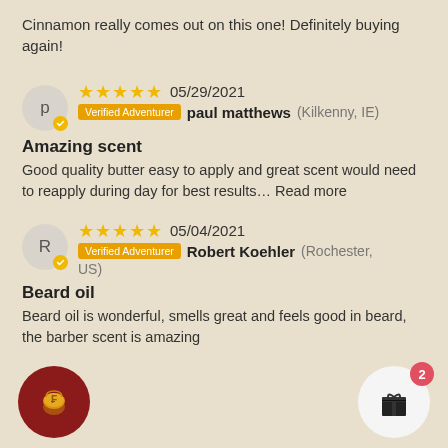Cinnamon really comes out on this one! Definitely buying again!
★★★★★ 05/29/2021 Verified Adventurer paul matthews (Kilkenny, IE)
Amazing scent
Good quality butter easy to apply and great scent would need to reapply during day for best results… Read more
★★★★★ 05/04/2021 Verified Adventurer Robert Koehler (Rochester, US)
Beard oil
Beard oil is wonderful, smells great and feels good in beard, the barber scent is amazing
[Figure (illustration): Coin bag icon on dark red circle button]
[Figure (illustration): Gift box icon on light circle button with red badge showing number 2]